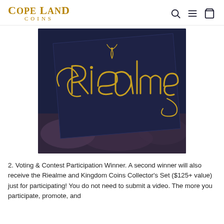COPELAND COINS
[Figure (photo): Dark navy blue book or box with gold ornate script lettering reading 'Riealme', sitting on top of patterned fabric or paper]
2. Voting & Contest Participation Winner. A second winner will also receive the Riealme and Kingdom Coins Collector's Set ($125+ value) just for participating! You do not need to submit a video. The more you participate, promote, and